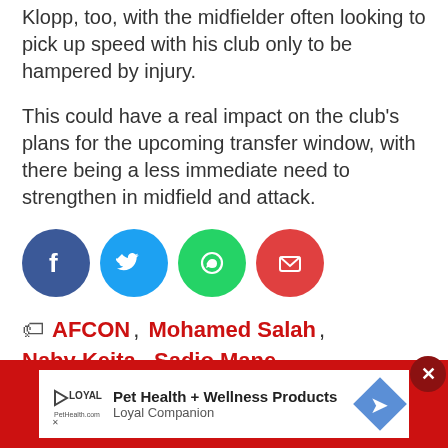Klopp, too, with the midfielder often looking to pick up speed with his club only to be hampered by injury.
This could have a real impact on the club's plans for the upcoming transfer window, with there being a less immediate need to strengthen in midfield and attack.
[Figure (other): Social share buttons: Facebook (dark blue circle), Twitter (blue circle), WhatsApp (green circle), Email (red circle)]
AFCON, Mohamed Salah, Naby Keita, Sadio Mane
[Figure (other): Advertisement banner: Pet Health + Wellness Products, Loyal Companion, with logo and arrow icon]